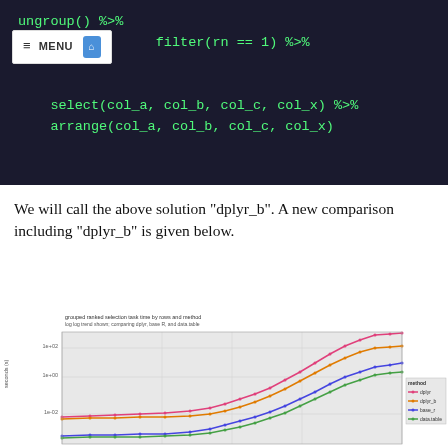[Figure (screenshot): Dark-background code block showing R code: ungroup() %>% / filter(rn == 1) %>% / select(col_a, col_b, col_c, col_x) %>% / arrange(col_a, col_b, col_c, col_x). A white MENU bar with home icon overlays the top-left portion.]
We will call the above solution "dplyr_b". A new comparison including "dplyr_b" is given below.
[Figure (line-chart): Log-log line chart with 4 series (dplyr in pink/red, dplyr_b in orange, base_r in blue, data.table in green) showing task time (seconds) vs rows. Lines curve upward to the right on log-log scale. Legend on right side shows method colors.]